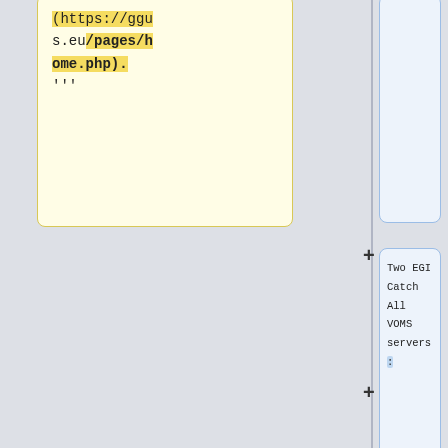(https://ggus.eu/pages/home.php). '''
Two EGI Catch All VOMS servers:
*'''voms.hellasgrid.gr '''
*'''voms2.hellasgrid.gr'''
Small user